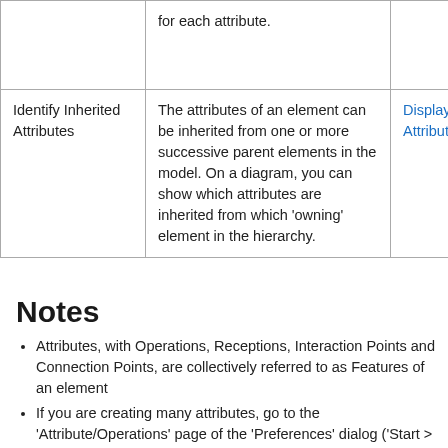|  |  |  |
| --- | --- | --- |
|  | for each attribute. |  |
| Identify Inherited Attributes | The attributes of an element can be inherited from one or more successive parent elements in the model. On a diagram, you can show which attributes are inherited from which 'owning' element in the hierarchy. | Display Inherited Attributes |
Notes
Attributes, with Operations, Receptions, Interaction Points and Connection Points, are collectively referred to as Features of an element
If you are creating many attributes, go to the 'Attribute/Operations' page of the 'Preferences' dialog ('Start > Appearance > Preferences > Preferences > Source Code Engineering > Attribute/Operations)...